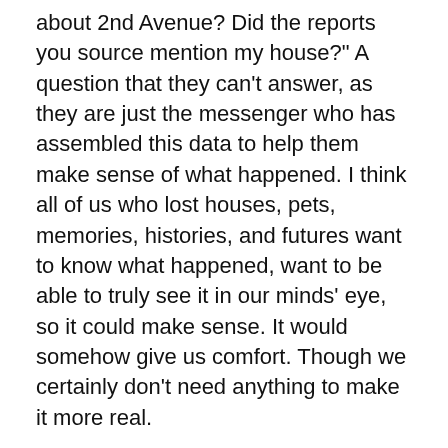about 2nd Avenue? Did the reports you source mention my house?" A question that they can't answer, as they are just the messenger who has assembled this data to help them make sense of what happened. I think all of us who lost houses, pets, memories, histories, and futures want to know what happened, want to be able to truly see it in our minds' eye, so it could make sense. It would somehow give us comfort. Though we certainly don't need anything to make it more real.
Part of being an empath, at least for me, is the need to completely immerse myself in the experience of tragedy. It helps me understand it and process it. But I have to draw a line at some point or I will drown in this immersion, particularly when the tragedy is personal. Being at the Retreat has helped. It has kept me a few hundred miles away from the ruins of the cozy house, which has kept me